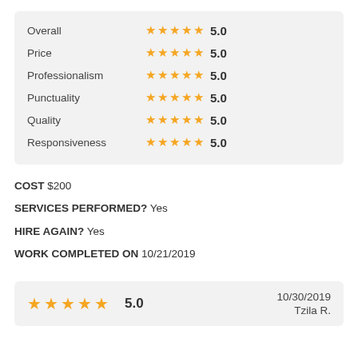| Category | Stars | Score |
| --- | --- | --- |
| Overall | ★★★★★ | 5.0 |
| Price | ★★★★★ | 5.0 |
| Professionalism | ★★★★★ | 5.0 |
| Punctuality | ★★★★★ | 5.0 |
| Quality | ★★★★★ | 5.0 |
| Responsiveness | ★★★★★ | 5.0 |
COST $200
SERVICES PERFORMED? Yes
HIRE AGAIN? Yes
WORK COMPLETED ON 10/21/2019
[Figure (other): 5-star rating row showing 5 gold stars and score 5.0, dated 10/30/2019, reviewer Tzila R.]